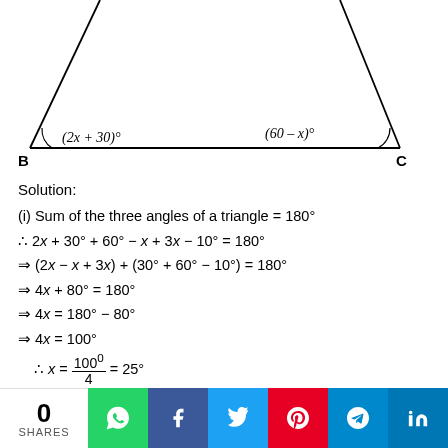[Figure (illustration): Triangle with angles labeled (2x+30)° at vertex B and (60-x)° at vertex C. The base of the triangle is line BC with B on the left and C on the right. The apex is at the top.]
Solution:
(i) Sum of the three angles of a triangle = 180°
∴ Measure of the angles are:
(i) (2x + 30)° = 2 × 25° + 30° = 80°